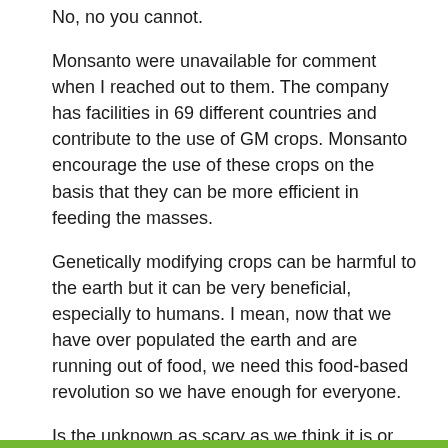No, no you cannot.
Monsanto were unavailable for comment when I reached out to them. The company has facilities in 69 different countries and contribute to the use of GM crops. Monsanto encourage the use of these crops on the basis that they can be more efficient in feeding the masses.
Genetically modifying crops can be harmful to the earth but it can be very beneficial, especially to humans. I mean, now that we have over populated the earth and are running out of food, we need this food-based revolution so we have enough for everyone.
Is the unknown as scary as we think it is or should we continue to allow the modification of our food?